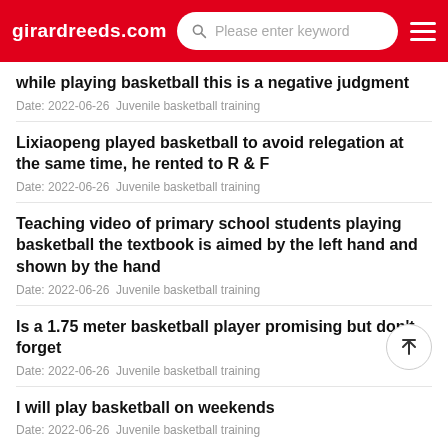girardreeds.com — Please enter keyword
while playing basketball this is a negative judgment
Date: 2022-06-26  Juvenile basketball training
Lixiaopeng played basketball to avoid relegation at the same time, he rented to R & F
Date: 2022-06-26  Juvenile basketball training
Teaching video of primary school students playing basketball the textbook is aimed by the left hand and shown by the hand
Date: 2022-06-26  Juvenile basketball training
Is a 1.75 meter basketball player promising but don't forget
Date: 2022-06-26  Juvenile basketball training
I will play basketball on weekends
Date: 2022-06-26  Juvenile basketball training